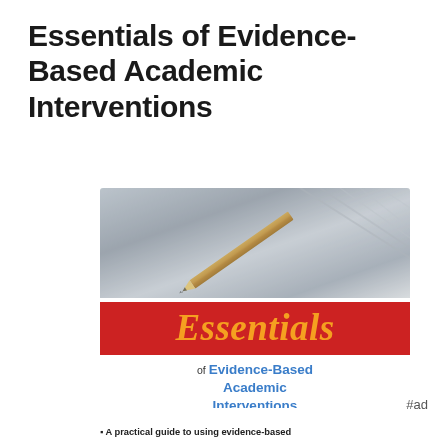Essentials of Evidence-Based Academic Interventions
[Figure (illustration): Book cover for 'Essentials of Evidence-Based Academic Interventions' showing a close-up photo of a pencil tip on paper with a red banner reading 'Essentials' in orange italic text, and subtitle text in blue showing 'of Evidence-Based Academic Interventions']
#ad
A practical guide to using evidence-based interventions in education